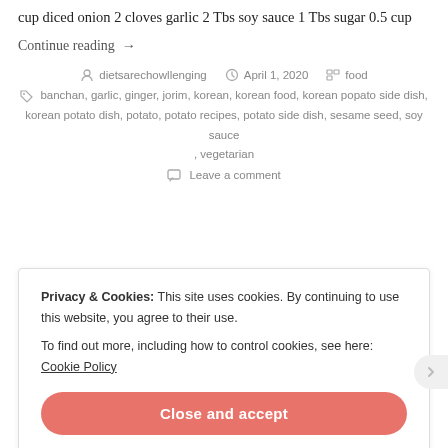cup diced onion 2 cloves garlic 2 Tbs soy sauce 1 Tbs sugar 0.5 cup
Continue reading →
dietsarechowllenging   April 1, 2020   food
banchan, garlic, ginger, jorim, korean, korean food, korean popato side dish, korean potato dish, potato, potato recipes, potato side dish, sesame seed, soy sauce , vegetarian
Leave a comment
Privacy & Cookies: This site uses cookies. By continuing to use this website, you agree to their use.
To find out more, including how to control cookies, see here: Cookie Policy
Close and accept